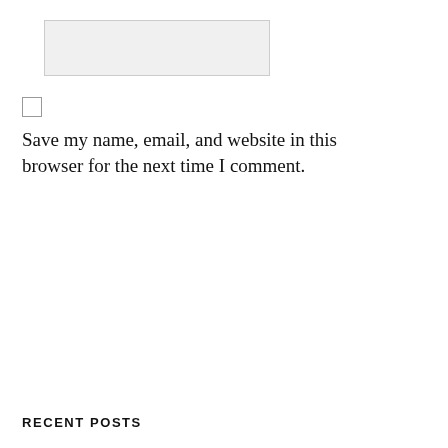[Figure (other): Text input field, light gray background with border]
Save my name, email, and website in this browser for the next time I comment.
POST COMMENT
[Figure (other): Search input field with placeholder text 'Search this website']
RECENT POSTS